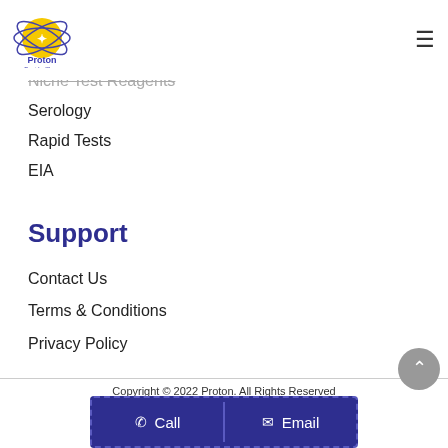[Figure (logo): Proton Best in Class logo - yellow circle with atom/star symbol, blue text]
Niche Test Reagents
Serology
Rapid Tests
EIA
Support
Contact Us
Terms & Conditions
Privacy Policy
Copyright © 2022 Proton. All Rights Reserved
Designed with ♥ by Honeycomb Creative Support.